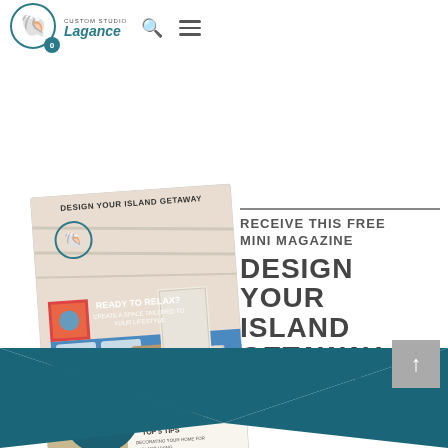[Figure (logo): Website header with logo showing a nautilus shell, brand name 'Lagance' or similar in teal italic, search icon, and hamburger menu icon]
[Figure (photo): Magazine cover titled 'DESIGN YOUR ISLAND GETAWAY' showing a tropical bedroom with blue bedding, with a teal circular badge reading 'FREE' and text 'READY TO RELAX?' and 'TOP 5 TIPS']
RECEIVE THIS FREE MINI MAGAZINE
DESIGN YOUR ISLAND GETAWAY
[Figure (illustration): Large teal downward-pointing triangle/chevron at the bottom of the page, and a gray back-to-top button with upward arrow]